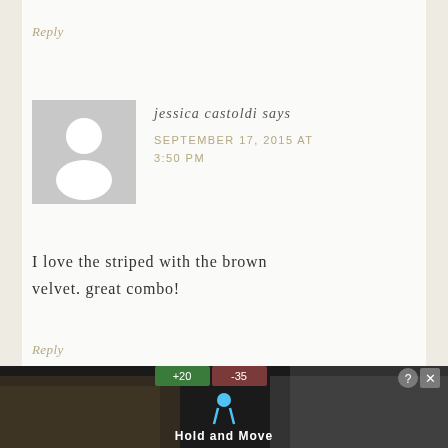Reply
[Figure (illustration): Default user avatar placeholder — grey square with white silhouette of a person (head and shoulders)]
jessica castoldi says
SEPTEMBER 17, 2015 AT 3:50 PM
I love the striped with the brown velvet. great combo!
Reply
[Figure (screenshot): Advertisement banner at bottom: dark background showing a mobile game ad with 'Hold and Move' text, a person icon, trees in background, and close/help buttons (+20/-35 score indicators)]